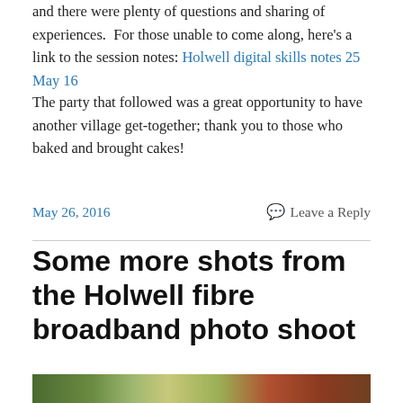and there were plenty of questions and sharing of experiences.  For those unable to come along, here's a link to the session notes: Holwell digital skills notes 25 May 16
The party that followed was a great opportunity to have another village get-together; thank you to those who baked and brought cakes!
May 26, 2016
Leave a Reply
Some more shots from the Holwell fibre broadband photo shoot
[Figure (photo): Partial view of a photo strip showing outdoor scene with greenery and brick wall]